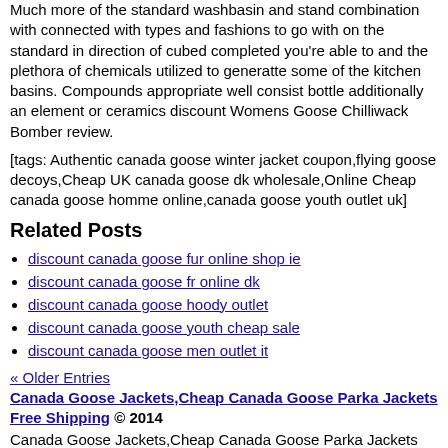Much more of the standard washbasin and stand combination with connected with types and fashions to go with on the standard in direction of cubed completed you're able to and the plethora of chemicals utilized to generatte some of the kitchen basins. Compounds appropriate well consist bottle additionally an element or ceramics discount Womens Goose Chilliwack Bomber review.
[tags: Authentic canada goose winter jacket coupon,flying goose decoys,Cheap UK canada goose dk wholesale,Online Cheap canada goose homme online,canada goose youth outlet uk]
Related Posts
discount canada goose fur online shop ie
discount canada goose fr online dk
discount canada goose hoody outlet
discount canada goose youth cheap sale
discount canada goose men outlet it
« Older Entries
Canada Goose Jackets,Cheap Canada Goose Parka Jackets Free Shipping © 2014
Canada Goose Jackets,Cheap Canada Goose Parka Jackets Free Shipping powered by WordPress
Designed by Yellow Blog